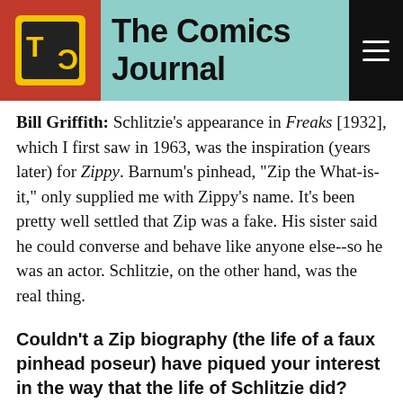The Comics Journal
Bill Griffith: Schlitzie's appearance in Freaks [1932], which I first saw in 1963, was the inspiration (years later) for Zippy. Barnum's pinhead, "Zip the What-is-it," only supplied me with Zippy's name. It's been pretty well settled that Zip was a fake. His sister said he could converse and behave like anyone else--so he was an actor. Schlitzie, on the other hand, was the real thing.
Couldn't a Zip biography (the life of a faux pinhead poseur) have piqued your interest in the way that the life of Schlitzie did?
Zip was an actor, though many many other sideshow acts were also less than truthful.